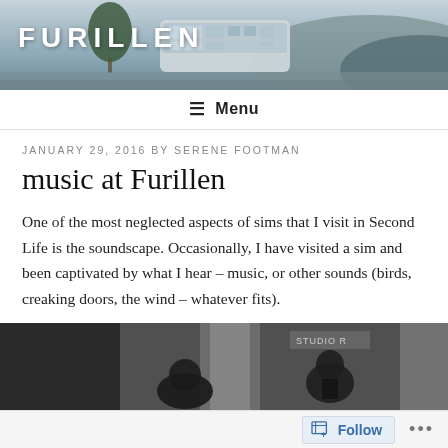[Figure (photo): Header photo of Furillen landscape with a vehicle or trailer visible, trees, and misty hills in the background. 'FURILLEN' text overlaid in white bold letters top-left.]
≡ Menu
JANUARY 29, 2016 BY SERENE FOOTMAN
music at Furillen
One of the most neglected aspects of sims that I visit in Second Life is the soundscape. Occasionally, I have visited a sim and been captivated by what I hear – music, or other sounds (birds, creaking doors, the wind – whatever fits).
[Figure (photo): Black and white photograph showing people, partially cropped at bottom of the page.]
Follow ...